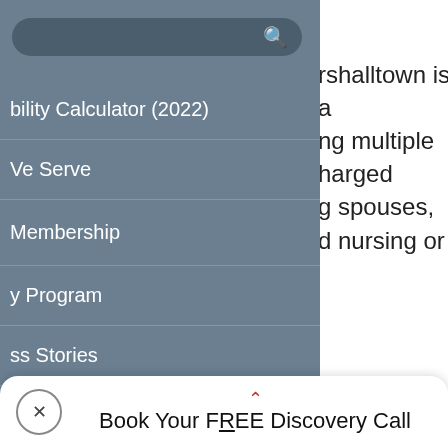[Figure (screenshot): Navigation overlay menu on the left side with a search bar and menu items: ability Calculator (2022), We Serve, Membership, y Program, ss Stories, Resources. On the right side, partially visible body text about Marshalltown services and veteran eligibility. At the bottom, a CTA bar with close button and 'Book Your FREE Discovery Call'.]
ability Calculator (2022)
We Serve
Membership
y Program
ss Stories
Resources
rshalltown is a ng multiple harged g spouses, d nursing or veteran for at ation date. een married at of the veteran's ator at (641) nvisor at (641)
Book Your FREE Discovery Call